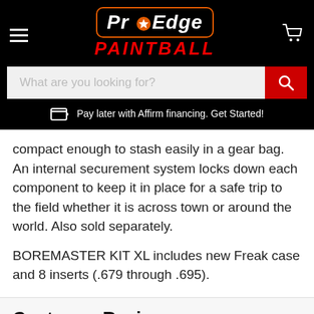[Figure (logo): Pro Edge Paintball logo with orange border, star icon, and red italic PAINTBALL text on black background]
What are you looking for?
Pay later with Affirm financing. Get Started!
compact enough to stash easily in a gear bag. An internal securement system locks down each component to keep it in place for a safe trip to the field whether it is across town or around the world. Also sold separately.
BOREMASTER KIT XL includes new Freak case and 8 inserts (.679 through .695).
Customer Reviews